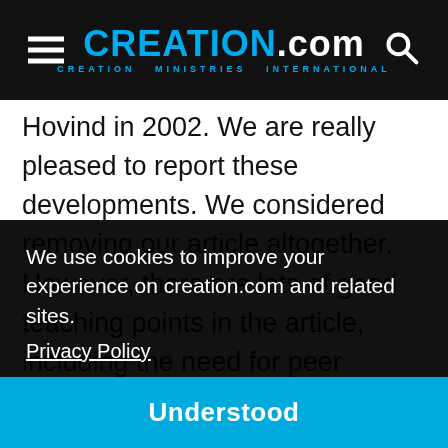CREATION.com — CREATION MINISTRIES INTERNATIONAL
Hovind in 2002. We are really pleased to report these developments. We considered removing our article altogether. However, there are lots of good teaching points in the article, including the need for peer review for us all, the need for a willingness to let go of arguments that prove to be wrong, as well as clarification of some of the “don’t use arguments”
We use cookies to improve your experience on creation.com and related sites.
Privacy Policy
Understood